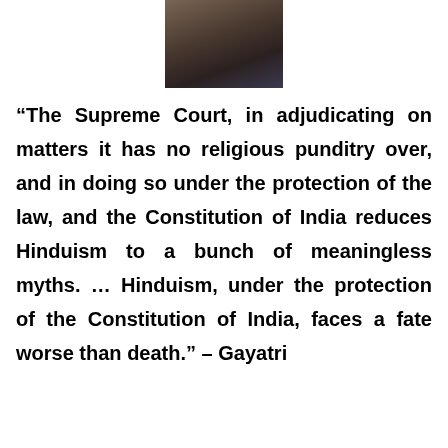[Figure (photo): Partial portrait photo of a woman with dark hair and a necklace, cropped at top of page]
“The Supreme Court, in adjudicating on matters it has no religious punditry over, and in doing so under the protection of the law, and the Constitution of India reduces Hinduism to a bunch of meaningless myths. … Hinduism, under the protection of the Constitution of India, faces a fate worse than death.” – Gayatri